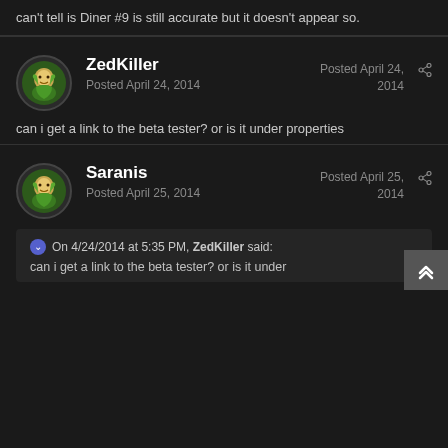can't tell is Diner #9 is still accurate but it doesn't appear so.
ZedKiller
Posted April 24, 2014
Posted April 24, 2014
can i get a link to the beta tester? or is it under properties
Saranis
Posted April 25, 2014
Posted April 25, 2014
On 4/24/2014 at 5:35 PM, ZedKiller said:
can i get a link to the beta tester? or is it under